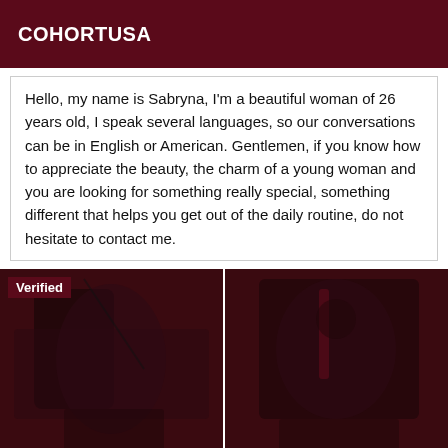COHORTUSA
Hello, my name is Sabryna, I'm a beautiful woman of 26 years old, I speak several languages, so our conversations can be in English or American. Gentlemen, if you know how to appreciate the beauty, the charm of a young woman and you are looking for something really special, something different that helps you get out of the daily routine, do not hesitate to contact me.
[Figure (illustration): Illustrated figure with 'Verified' badge overlay, left image]
[Figure (illustration): Illustrated figure, right image]